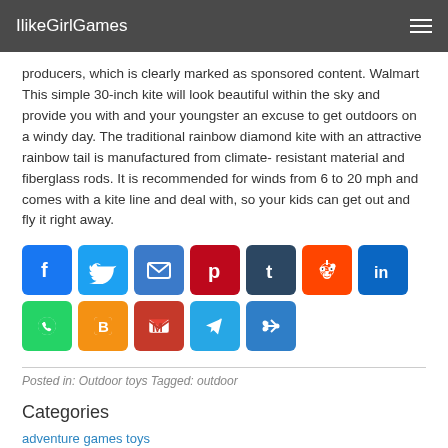IlikeGirlGames
producers, which is clearly marked as sponsored content. Walmart This simple 30-inch kite will look beautiful within the sky and provide you with and your youngster an excuse to get outdoors on a windy day. The traditional rainbow diamond kite with an attractive rainbow tail is manufactured from climate-resistant material and fiberglass rods. It is recommended for winds from 6 to 20 mph and comes with a kite line and deal with, so your kids can get out and fly it right away.
[Figure (infographic): Row of social sharing icon buttons: Facebook, Twitter, Email, Pinterest, Tumblr, Reddit, LinkedIn, WhatsApp, Blogger, Gmail, Telegram, Share]
Posted in: Outdoor toys Tagged: outdoor
Categories
adventure games toys